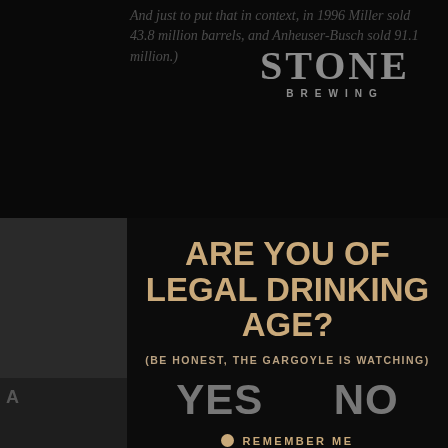And just to put that in context, in 1996 Miller sold 43.8 million barrels, and Anheuser-Busch sold 91.1 million.)
[Figure (logo): Stone Brewing logo with large 'STONE' text and 'BREWING' below in spaced capitals]
ARE YOU OF LEGAL DRINKING AGE?
(BE HONEST, THE GARGOYLE IS WATCHING)
YES
NO
REMEMBER ME
THIS SITE USES COOKIES. INFORMATION ON OUR COOKIES AND INSTRUCTIONS TO DISABLE THEM